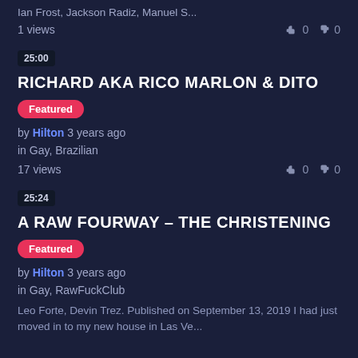Ian Frost, Jackson Radiz, Manuel S...
1 views   👍 0  👎 0
25:00
RICHARD AKA RICO MARLON & DITO
Featured
by Hilton 3 years ago
in Gay, Brazilian
17 views   👍 0  👎 0
25:24
A RAW FOURWAY – THE CHRISTENING
Featured
by Hilton 3 years ago
in Gay, RawFuckClub
Leo Forte, Devin Trez. Published on September 13, 2019 I had just moved in to my new house in Las Ve...